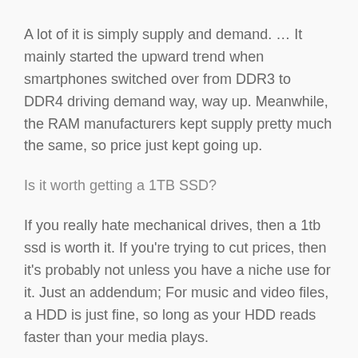A lot of it is simply supply and demand. … It mainly started the upward trend when smartphones switched over from DDR3 to DDR4 driving demand way, way up. Meanwhile, the RAM manufacturers kept supply pretty much the same, so price just kept going up.
Is it worth getting a 1TB SSD?
If you really hate mechanical drives, then a 1tb ssd is worth it. If you're trying to cut prices, then it's probably not unless you have a niche use for it. Just an addendum; For music and video files, a HDD is just fine, so long as your HDD reads faster than your media plays.